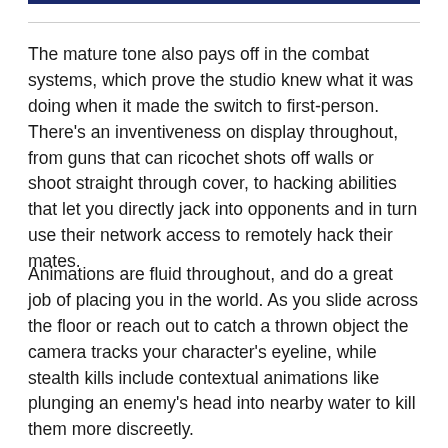The mature tone also pays off in the combat systems, which prove the studio knew what it was doing when it made the switch to first-person. There's an inventiveness on display throughout, from guns that can ricochet shots off walls or shoot straight through cover, to hacking abilities that let you directly jack into opponents and in turn use their network access to remotely hack their mates.
Animations are fluid throughout, and do a great job of placing you in the world. As you slide across the floor or reach out to catch a thrown object the camera tracks your character's eyeline, while stealth kills include contextual animations like plunging an enemy's head into nearby water to kill them more discreetly.